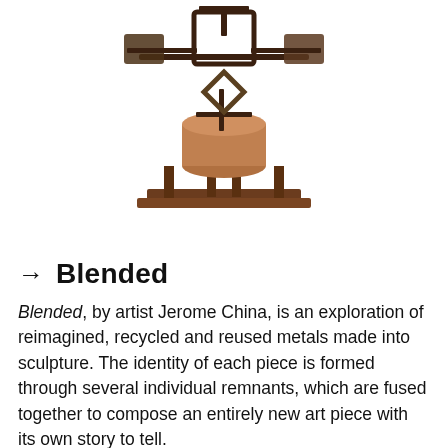[Figure (photo): A metal sculpture made of recycled and repurposed metal parts. The sculpture has a square base platform in dark brown/copper, with legs supporting a cylindrical copper-toned body. Above the body, metal rods extend outward and upward, holding square flat frames and block shapes in dark metal, creating an abstract humanoid or mechanical figure form. The piece is photographed against a white background.]
→  Blended
Blended, by artist Jerome China, is an exploration of reimagined, recycled and reused metals made into sculpture. The identity of each piece is formed through several individual remnants, which are fused together to compose an entirely new art piece with its own story to tell.